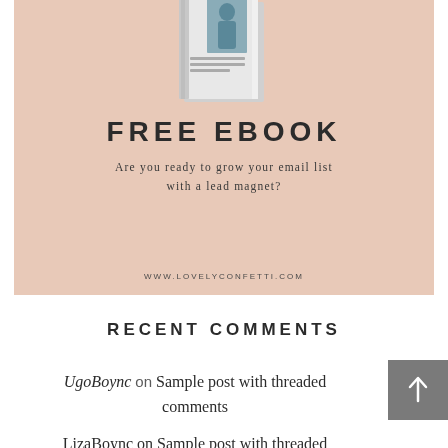[Figure (illustration): Promotional banner with peach/salmon background showing a book/ebook image at the top, 'FREE EBOOK' title in bold large letters, subtitle text 'Are you ready to grow your email list with a lead magnet?', and URL 'WWW.LOVELYCONFETTI.COM' at the bottom.]
RECENT COMMENTS
UgoBoync on Sample post with threaded comments
LizaBoync on Sample post with threaded